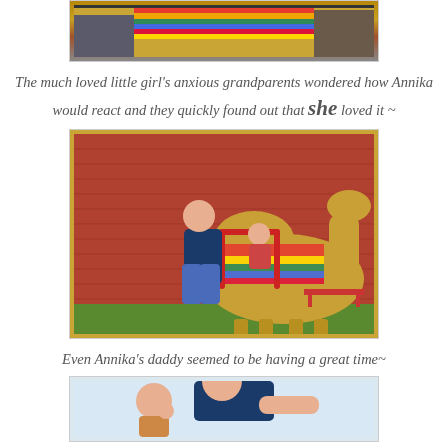[Figure (photo): Top partial photo showing camel with colorful blanket and people, cropped at top]
The much loved little girl's anxious grandparents wondered how Annika would react and they quickly found out that she loved it ~
[Figure (photo): A man with red hair riding a camel with a young child, colorful saddle blanket, brick wall in background]
Even Annika's daddy seemed to be having a great time~
[Figure (photo): Bottom partial photo showing a man and a child, cropped at bottom]